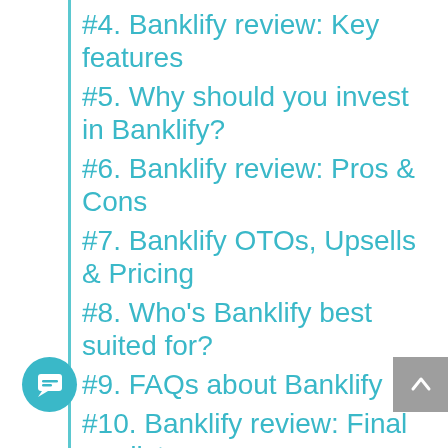#4. Banklify review: Key features
#5. Why should you invest in Banklify?
#6. Banklify review: Pros & Cons
#7. Banklify OTOs, Upsells & Pricing
#8. Who's Banklify best suited for?
#9. FAQs about Banklify
#10. Banklify review: Final verdict
Banklify Exclusive Bonuses